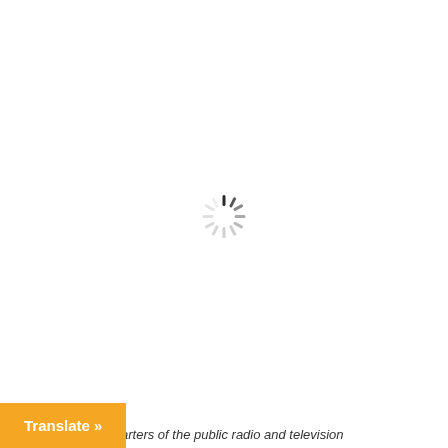[Figure (other): Loading spinner icon centered on a white background — a circular arrangement of short dark and light gray radial lines indicating a loading state.]
The Athens headquarters of the public radio and television